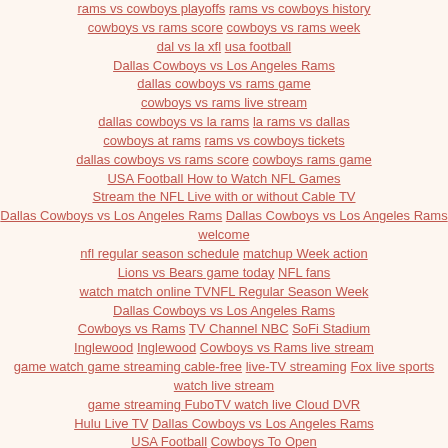rams vs cowboys playoffs rams vs cowboys history cowboys vs rams score cowboys vs rams week dal vs la xfl usa football Dallas Cowboys vs Los Angeles Rams dallas cowboys vs rams game cowboys vs rams live stream dallas cowboys vs la rams la rams vs dallas cowboys at rams rams vs cowboys tickets dallas cowboys vs rams score cowboys rams game USA Football How to Watch NFL Games Stream the NFL Live with or without Cable TV Dallas Cowboys vs Los Angeles Rams Dallas Cowboys vs Los Angeles Rams welcome nfl regular season schedule matchup Week action Lions vs Bears game today NFL fans watch match online TVNFL Regular Season Week Dallas Cowboys vs Los Angeles Rams Cowboys vs Rams TV Channel NBC SoFi Stadium Inglewood Inglewood Cowboys vs Rams live stream game watch game streaming cable-free live-TV streaming Fox live sports watch live stream game streaming FuboTV watch live Cloud DVR Hulu Live TV Dallas Cowboys vs Los Angeles Rams USA Football Cowboys To Open Season vs. LA Rams Cowboys vs. Rams Game Summary ESPN extensive Netflix Dallas Cowboys vs Los Angeles Rams live streaming live TV channels Hulu Live watch live stream game streaming Fox free watch live stream game streaming watch live cloud DVR Fox Sports watch live stream game Fox Sports Cowboys vs Rams live stream Football Game streaming Fox Sports watch way FuboTV Hulu Sling TV credential watch Fox digital Watch NFL Streaming prime-time game watch NFL watch live stream online live satellite